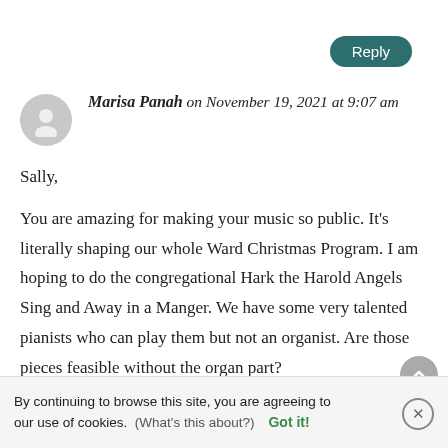Reply
Marisa Panah on November 19, 2021 at 9:07 am
Sally,

You are amazing for making your music so public. It's literally shaping our whole Ward Christmas Program. I am hoping to do the congregational Hark the Harold Angels Sing and Away in a Manger. We have some very talented pianists who can play them but not an organist. Are those pieces feasible without the organ part?
By continuing to browse this site, you are agreeing to our use of cookies.  (What's this about?)  Got it!